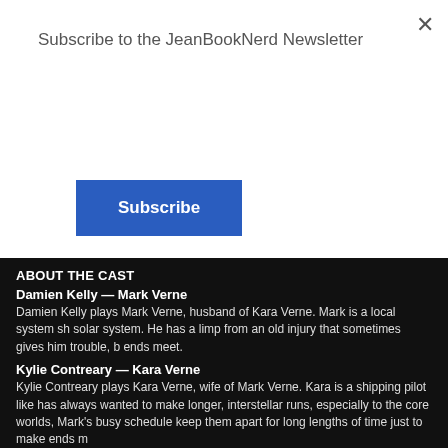Subscribe to the JeanBookNerd Newsletter
Subscribe
ABOUT THE CAST
Damien Kelly — Mark Verne
Damien Kelly plays Mark Verne, husband of Kara Verne. Mark is a local system sh... solar system. He has a limp from an old injury that sometimes gives him trouble, b... ends meet.
Kylie Contreary — Kara Verne
Kylie Contreary plays Kara Verne, wife of Mark Verne. Kara is a shipping pilot like... has always wanted to make longer, interstellar runs, especially to the core worlds,... Mark's busy schedule keep them apart for long lengths of time just to make ends m...
Claire Montgomery — Judy
Claire Montgomery plays the jaded port authority agent on Rylar Station known as... came to the station or from where, but her indifference and coldness have made h... shipping companies to protect their interests. However she is not above making a... information for money.